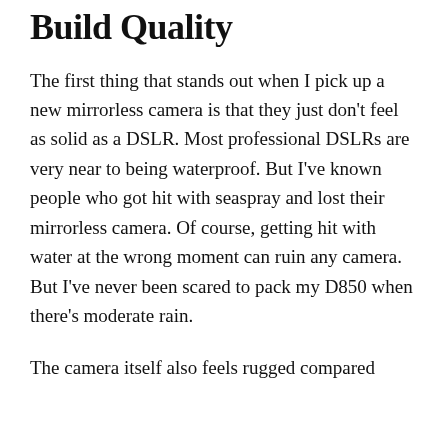Build Quality
The first thing that stands out when I pick up a new mirrorless camera is that they just don't feel as solid as a DSLR. Most professional DSLRs are very near to being waterproof. But I've known people who got hit with seaspray and lost their mirrorless camera. Of course, getting hit with water at the wrong moment can ruin any camera. But I've never been scared to pack my D850 when there's moderate rain.
The camera itself also feels rugged compared